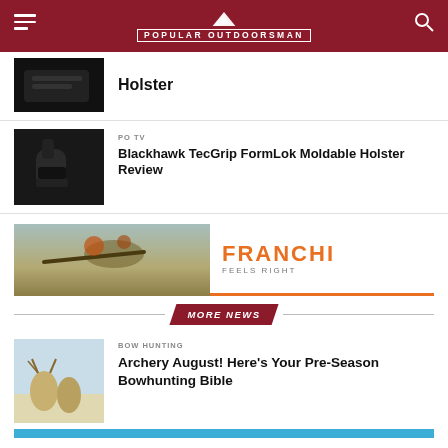Popular Outdoorsman
Holster
PO TV
Blackhawk TecGrip FormLok Moldable Holster Review
[Figure (photo): Franchi advertisement banner with hunting/bird hunting photo on left and FRANCHI FEELS RIGHT text on right with orange accent]
MORE NEWS
BOW HUNTING
Archery August! Here's Your Pre-Season Bowhunting Bible